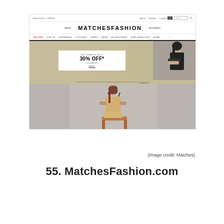[Figure (screenshot): Screenshot of MatchesFashion.com website showing the homepage with navigation bar, MEN and WOMEN links, main MATCHESFASHION logo, nav links including sale, just in, designers, clothing, shoes, bags, accessories, fine jewellery, home. A banner showing Mid-Season Sale 30% Off with a female model in black. Below is a second banner image showing a female model in yellow/nude sitting on a chair.]
(Image credit: Matches)
55. MatchesFashion.com